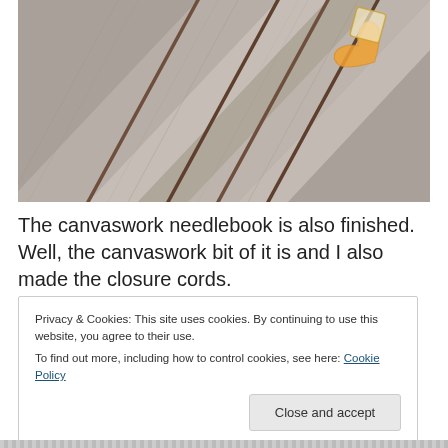[Figure (photo): Close-up photograph of weathered grey wooden deck planks with brown edges/separators visible diagonally. A small orange and cream colored heart or decorative object is partially visible in the top right corner.]
The canvaswork needlebook is also finished. Well, the canvaswork bit of it is and I also made the closure cords.
Privacy & Cookies: This site uses cookies. By continuing to use this website, you agree to their use.
To find out more, including how to control cookies, see here: Cookie Policy

Close and accept